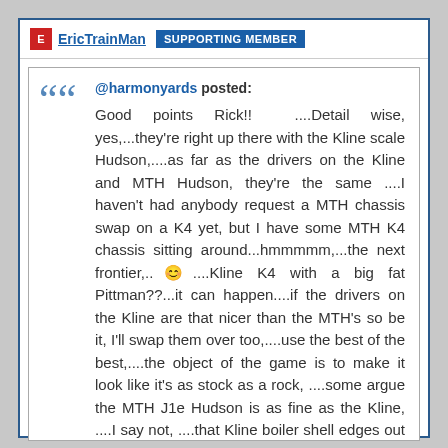EricTrainMan  SUPPORTING MEMBER
@harmonyards posted:
Good points Rick!!  ....Detail wise, yes,...they're right up there with the Kline scale Hudson,....as far as the drivers on the Kline and MTH Hudson, they're the same ....I haven't had anybody request a MTH chassis swap on a K4 yet, but I have some MTH K4 chassis sitting around...hmmmmm,...the next frontier,..☺....Kline K4 with a big fat Pittman??...it can happen....if the drivers on the Kline are that nicer than the MTH's so be it, I'll swap them over too,....use the best of the best,....the object of the game is to make it look like it's as stock as a rock, ....some argue the MTH J1e Hudson is as fine as the Kline, ....I say not, ....that Kline boiler shell edges out on the detail dept......those Kline scale models are the closest thing to high dollar brass that I've ever seen.... hence why so many have